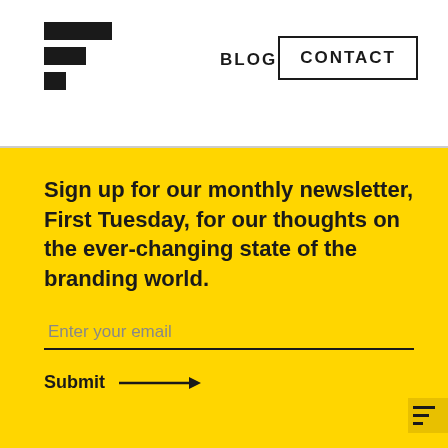BLOG  CONTACT
[Figure (logo): Three horizontal bars of decreasing width forming a stacked logo mark]
Sign up for our monthly newsletter, First Tuesday, for our thoughts on the ever-changing state of the branding world.
Enter your email
Submit →